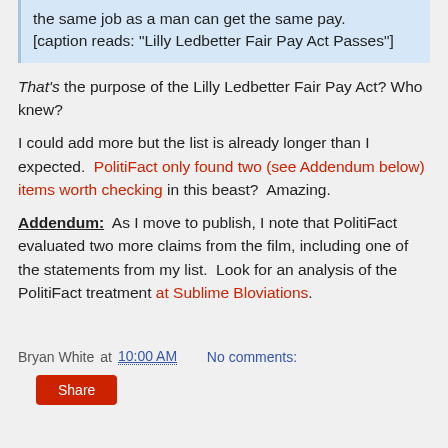the same job as a man can get the same pay. [caption reads: "Lilly Ledbetter Fair Pay Act Passes"]
That's the purpose of the Lilly Ledbetter Fair Pay Act?  Who knew?
I could add more but the list is already longer than I expected.  PolitiFact only found two (see Addendum below) items worth checking in this beast?  Amazing.
Addendum:  As I move to publish, I note that PolitiFact evaluated two more claims from the film, including one of the statements from my list.  Look for an analysis of the PolitiFact treatment at Sublime Bloviations.
Bryan White at 10:00 AM   No comments: